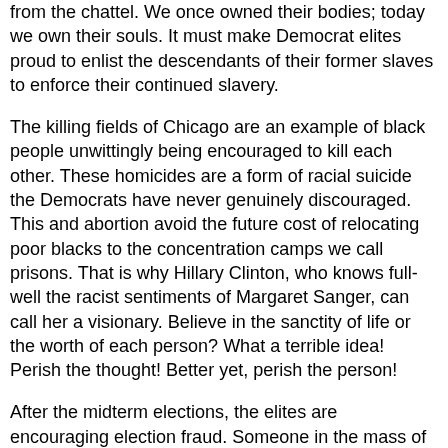from the chattel. We once owned their bodies; today we own their souls. It must make Democrat elites proud to enlist the descendants of their former slaves to enforce their continued slavery.
The killing fields of Chicago are an example of black people unwittingly being encouraged to kill each other. These homicides are a form of racial suicide the Democrats have never genuinely discouraged. This and abortion avoid the future cost of relocating poor blacks to the concentration camps we call prisons. That is why Hillary Clinton, who knows full-well the racist sentiments of Margaret Sanger, can call her a visionary. Believe in the sanctity of life or the worth of each person? What a terrible idea! Perish the thought! Better yet, perish the person!
After the midterm elections, the elites are encouraging election fraud. Someone in the mass of humanity actually believes in freedom? And it’s not the freedom to watch anything they want on TV? Or the freedom to smoke weed? It’s the right to participate fully as a valued citizen? To have genuinely equal opportunity?